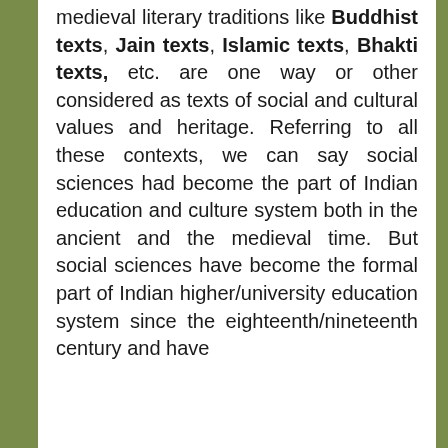medieval literary traditions like Buddhist texts, Jain texts, Islamic texts, Bhakti texts, etc. are one way or other considered as texts of social and cultural values and heritage. Referring to all these contexts, we can say social sciences had become the part of Indian education and culture system both in the ancient and the medieval time. But social sciences have become the formal part of Indian higher/university education system since the eighteenth/nineteenth century and have